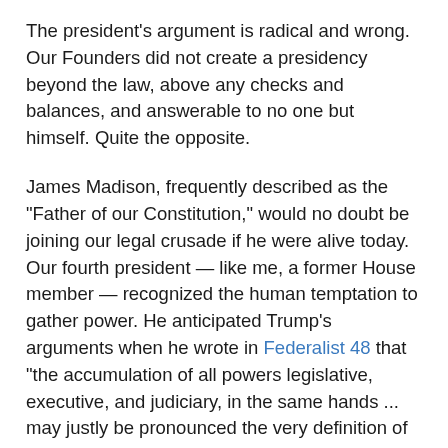The president's argument is radical and wrong. Our Founders did not create a presidency beyond the law, above any checks and balances, and answerable to no one but himself. Quite the opposite.
James Madison, frequently described as the "Father of our Constitution," would no doubt be joining our legal crusade if he were alive today. Our fourth president — like me, a former House member — recognized the human temptation to gather power. He anticipated Trump's arguments when he wrote in Federalist 48 that "the accumulation of all powers legislative, executive, and judiciary, in the same hands ... may justly be pronounced the very definition of tyranny."
The American answer to tyranny, of course, required our Founders to revolt against an unaccountable king. They wrote our Constitution to assure that they, and we, would live in a democracy. Our nation's history illustrates the president's claims to monarchical immunity are hollow and weak.
Americans who cherish our democratic system, and the checks